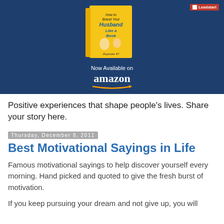[Figure (illustration): Dark blue banner with a yellow book titled 'How to Brand Your Husband Like a Book', with text 'Now Available on amazon' below the book. Leadstart logo badge in top right corner.]
Positive experiences that shape people's lives. Share your story here.
Thursday, December 8, 2011
Best Motivational Sayings in Life
Famous motivational sayings to help discover yourself every morning. Hand picked and quoted to give the fresh burst of motivation.
If you keep pursuing your dream and not give up, you will